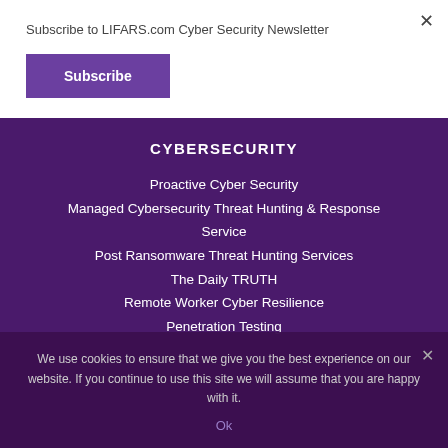Subscribe to LIFARS.com Cyber Security Newsletter
Subscribe
CYBERSECURITY
Proactive Cyber Security
Managed Cybersecurity Threat Hunting & Response Service
Post Ransomware Threat Hunting Services
The Daily TRUTH
Remote Worker Cyber Resilience
Penetration Testing
We use cookies to ensure that we give you the best experience on our website. If you continue to use this site we will assume that you are happy with it.
Ok